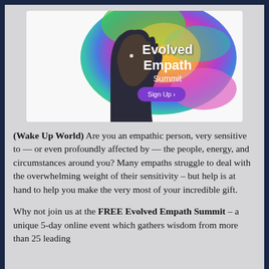[Figure (illustration): Evolved Empath Summit banner with colorful rainbow hair emanating from a person's silhouette profile, with 'Evolved Empath Summit' text and a 'Sign Up' button]
(Wake Up World) Are you an empathic person, very sensitive to — or even profoundly affected by — the people, energy, and circumstances around you? Many empaths struggle to deal with the overwhelming weight of their sensitivity – but help is at hand to help you make the very most of your incredible gift.
Why not join us at the FREE Evolved Empath Summit – a unique 5-day online event which gathers wisdom from more than 25 leading